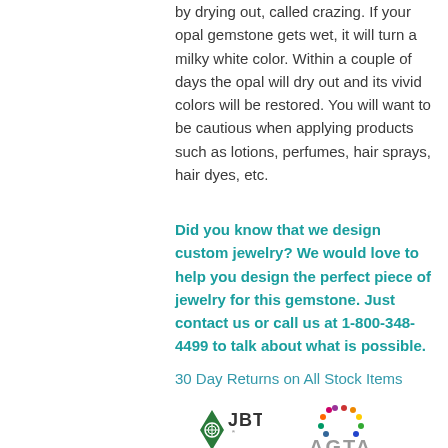by drying out, called crazing. If your opal gemstone gets wet, it will turn a milky white color. Within a couple of days the opal will dry out and its vivid colors will be restored. You will want to be cautious when applying products such as lotions, perfumes, hair sprays, hair dyes, etc.
Did you know that we design custom jewelry? We would love to help you design the perfect piece of jewelry for this gemstone. Just contact us or call us at 1-800-348-4499 to talk about what is possible.
30 Day Returns on All Stock Items
[Figure (logo): JBT Member Jewelers Board logo - green diamond shape with decorative center, text JBT MEMBER JEWELERS BOARD]
[Figure (logo): AGTA American Gem Trade Association logo - circular arrangement of colored dots above large AGTA text]